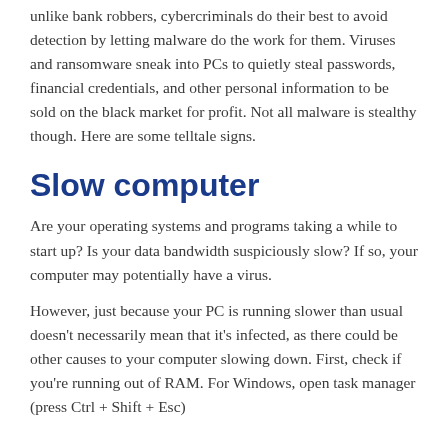unlike bank robbers, cybercriminals do their best to avoid detection by letting malware do the work for them. Viruses and ransomware sneak into PCs to quietly steal passwords, financial credentials, and other personal information to be sold on the black market for profit. Not all malware is stealthy though. Here are some telltale signs.
Slow computer
Are your operating systems and programs taking a while to start up? Is your data bandwidth suspiciously slow? If so, your computer may potentially have a virus.
However, just because your PC is running slower than usual doesn't necessarily mean that it's infected, as there could be other causes to your computer slowing down. First, check if you're running out of RAM. For Windows, open task manager (press Ctrl + Shift + Esc)